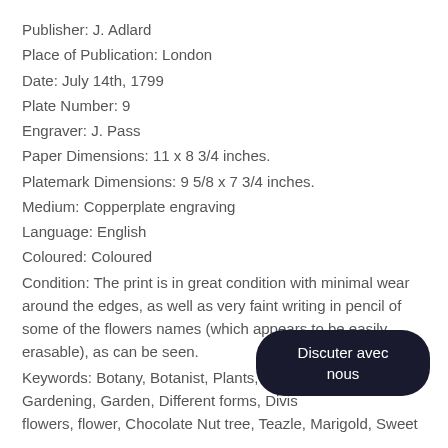Publisher: J. Adlard
Place of Publication: London
Date: July 14th, 1799
Plate Number: 9
Engraver: J. Pass
Paper Dimensions: 11 x 8 3/4 inches.
Platemark Dimensions: 9 5/8 x 7 3/4 inches.
Medium: Copperplate engraving
Language: English
Coloured: Coloured
Condition: The print is in great condition with minimal wear around the edges, as well as very faint writing in pencil of some of the flowers names (which appears to be easily erasable), as can be seen.
Keywords: Botany, Botanist, Plants, Pla[nts,] Gardening, Garden, Different forms, Divisi[on of] flowers, flower, Chocolate Nut tree, Teazle, Marigold, Sweet